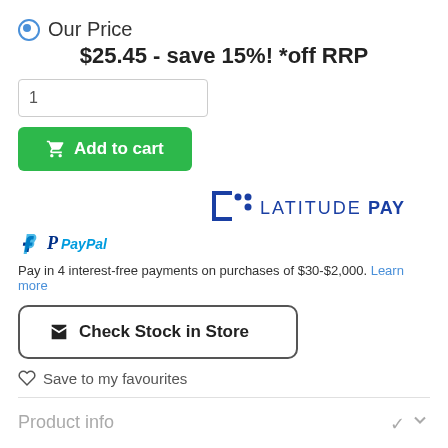Our Price
$25.45 - save 15%! *off RRP
[Figure (other): Quantity input field with value 1]
[Figure (other): Add to cart green button with cart icon]
[Figure (logo): Latitude Pay logo]
PayPal Pay in 4 interest-free payments on purchases of $30-$2,000. Learn more
[Figure (other): Check Stock in Store button with store icon]
Save to my favourites
Product info